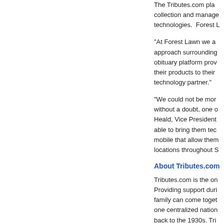The Tributes.com platform collection and management technologies.  Forest L
"At Forest Lawn we approach surrounding obituary platform providing their products to their technology partner."
"We could not be more without a doubt, one of Heald, Vice President able to bring them technology mobile that allow them locations throughout S
About Tributes.com
Tributes.com is the on Providing support during family can come together one centralized nation back to the 1930s. Tri